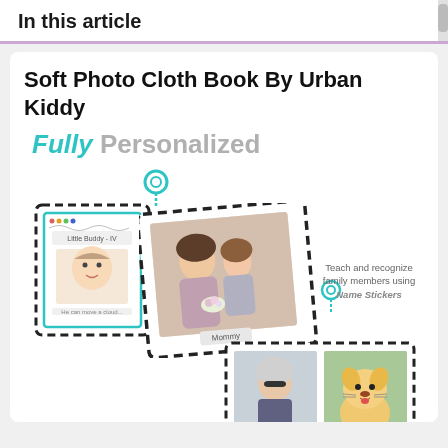In this article
Soft Photo Cloth Book By Urban Kiddy
[Figure (infographic): Product infographic showing a personalized soft photo cloth book with text 'Fully Personalized', two location pin icons, cloth book pages with family photos and a baby name card, annotation 'Teach and recognize family members using Name Stickers', annotation 'Included baby photo Name Card']